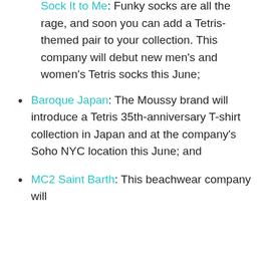Sock It to Me: Funky socks are all the rage, and soon you can add a Tetris-themed pair to your collection. This company will debut new men's and women's Tetris socks this June;
Baroque Japan: The Moussy brand will introduce a Tetris 35th-anniversary T-shirt collection in Japan and at the company's Soho NYC location this June; and
MC2 Saint Barth: This beachwear company will
This website uses cookies that help the website function and help us understand how to interact with it. We use these cookies to provide you with an improved user experience. If you continue to visit our website, we assume you are OK with it. Read More